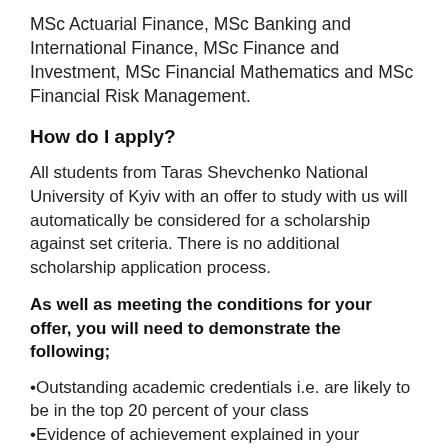MSc Actuarial Finance, MSc Banking and International Finance, MSc Finance and Investment, MSc Financial Mathematics and MSc Financial Risk Management.
How do I apply?
All students from Taras Shevchenko National University of Kyiv with an offer to study with us will automatically be considered for a scholarship against set criteria. There is no additional scholarship application process.
As well as meeting the conditions for your offer, you will need to demonstrate the following;
Outstanding academic credentials i.e. are likely to be in the top 20 percent of your class
Evidence of achievement explained in your personal statement (for example prizes or awards received, where you were placed in your